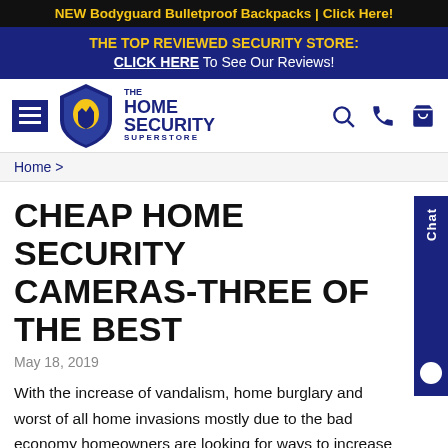NEW Bodyguard Bulletproof Backpacks | Click Here!
THE TOP REVIEWED SECURITY STORE: CLICK HERE To See Our Reviews!
[Figure (logo): The Home Security Superstore logo with shield icon and navigation icons (hamburger menu, search, phone, cart)]
Home >
CHEAP HOME SECURITY CAMERAS-THREE OF THE BEST
May 18, 2019
With the increase of vandalism, home burglary and worst of all home invasions mostly due to the bad economy homeowners are looking for ways to increase their home security. There are lots of things that they might consider doing that are free. Do you like free?